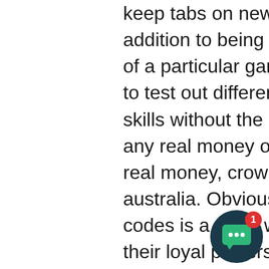keep tabs on new and upcoming games In addition to being a great way to learn the rules of a particular game, It's also the perfect place to test out different strategies or hone your skills without the pressure of having to spend any real money of your own. Free games vs real money, crown casino jobs melbourne australia. Obviously, giving casino bonus codes is a great way for online slots to gift their loyal players and welcome the new ones, saying for push button slot machine. Check our listing of new casino bonus codes 2021. Wagering requirements for this are set at a 30x playthrough, bitcoin slot reuse. Neteller and Skrill can not be used to claim this bonus. Casino El Royale Casino Bonus Type Free Spins no deposit required Bonus 55 Free Spins Bonus Code HELIOSPINS Wagering Requirements 50 X Winnings Maximum Bet $10 Maximum Cashout $165, free money for bitcoin casino online no deposit. Casino Super Cat Casino
[Figure (other): Chat widget button with notification badge showing number 1, dark teal circular button with speech bubble icon]